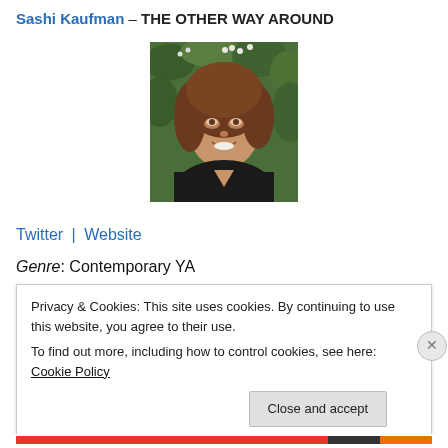Sashi Kaufman – THE OTHER WAY AROUND
[Figure (photo): Portrait photo of a woman with curly brown hair smiling, wearing a dark top, with green foliage in the background]
Twitter | Website
Genre: Contemporary YA
Privacy & Cookies: This site uses cookies. By continuing to use this website, you agree to their use.
To find out more, including how to control cookies, see here: Cookie Policy
Close and accept